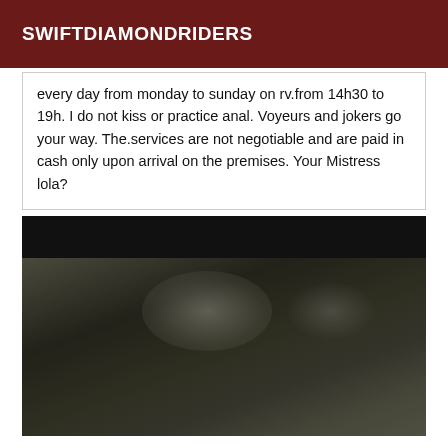SWIFTDIAMONDRIDERS
every day from monday to sunday on rv.from 14h30 to 19h. I do not kiss or practice anal. Voyeurs and jokers go your way. The.services are not negotiable and are paid in cash only upon arrival on the premises. Your Mistress lola?
[Figure (photo): A dark, blurry photograph with indistinct dark shapes against a partially lighter background, appearing to show fabric or clothing.]